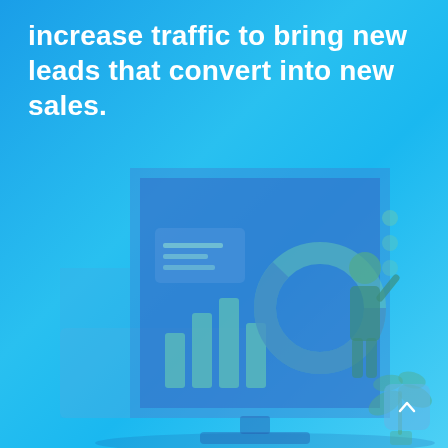increase traffic to bring new leads that convert into new sales.
[Figure (illustration): Isometric illustration of a person standing in front of a large monitor/dashboard displaying bar charts and a donut chart, with analytics data. A small plant decoration is visible to the right. The illustration has a blue and teal color scheme matching the background gradient.]